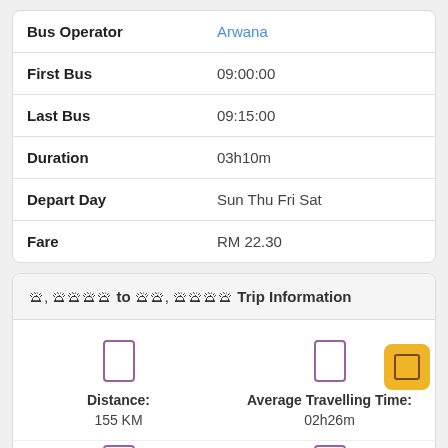| Field | Value |
| --- | --- |
| Bus Operator | Arwana |
| First Bus | 09:00:00 |
| Last Bus | 09:15:00 |
| Duration | 03h10m |
| Depart Day | Sun Thu Fri Sat |
| Fare | RM 22.30 |
ð¢, ð¢ð¢ð¢ð¢ to ð¢ð¢, ð¢ð¢ð¢ð¢ Trip Information
Distance: 155 KM
Average Travelling Time: 02h26m
Total Operator Brands:
Total Trips: